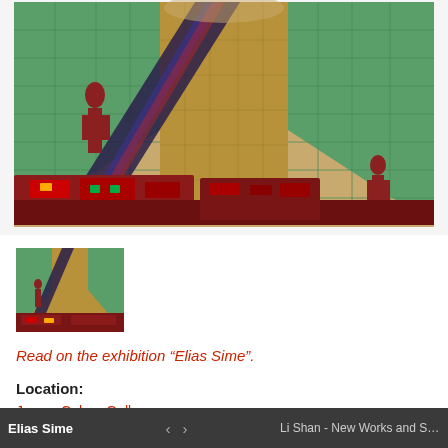[Figure (photo): Large artwork image by Elias Sime — a mixed-media mosaic artwork showing a room in perspective with green tiled walls, golden/brown floor made of circuit board elements, two red human figures on left and right sides, and a diagonal dark beam/stripe running from upper center. Electronic components (circuit boards) are visible in the foreground.]
[Figure (photo): Thumbnail image of the same Elias Sime artwork, showing the mosaic with green walls, golden floor with circuit board elements, and diagonal dark stripe.]
Read on the exhibition “Elias Sime”.
Location:
James Cohan Gallery
533 West 26th Street
Elias Sime   ‹   ›   Li Shan - New Works and Selecte...